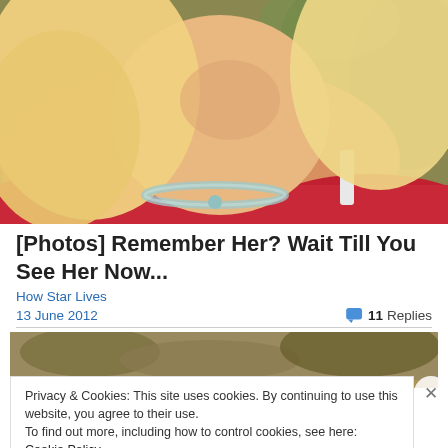[Figure (photo): Close-up photo of a blonde woman wearing a red outfit and a sparkling necklace, with greenery in the background]
[Photos] Remember Her? Wait Till You See Her Now...
How Star Lives
13 June 2012
11 Replies
[Figure (photo): Partially visible outdoor photo behind a cookie consent banner]
Privacy & Cookies: This site uses cookies. By continuing to use this website, you agree to their use.
To find out more, including how to control cookies, see here: Cookie Policy
Close and accept